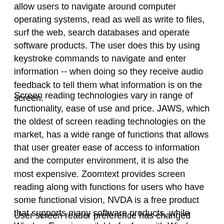allow users to navigate around computer operating systems, read as well as write to files, surf the web, search databases and operate software products. The user does this by using keystroke commands to navigate and enter information -- when doing so they receive audio feedback to tell them what information is on the screen.
Screen reading technologies vary in range of functionality, ease of use and price. JAWS, which the oldest of screen reading technologies on the market, has a wide range of functions that allows that user greater ease of access to information and the computer environment, it is also the most expensive. Zoomtext provides screen reading along with functions for users who have some functional vision, NVDA is a free product that supports many software products, while Window Eyes is available for free with Windows 10 and VoiceOver is native to Apple computers.
User screen reader preference has changed over the